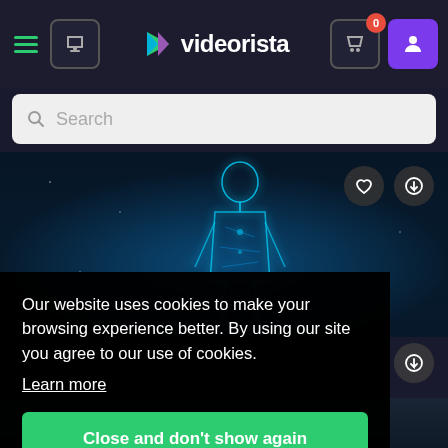[Figure (screenshot): Videorista website navigation bar with hamburger menu, chat button, logo, cart button with 0 badge, and purple user button]
Search
[Figure (photo): Dark blue background with a glowing cyan holographic human body figure in the center]
Our website uses cookies to make your browsing experience better. By using our site you agree to our use of cookies.
Learn more
Close and don't show again